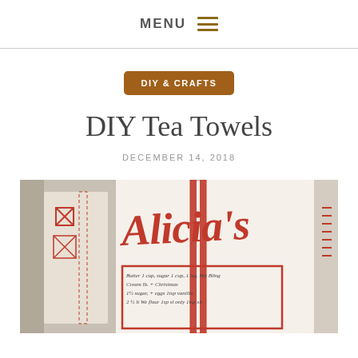MENU ☰
DIY & CRAFTS
DIY Tea Towels
DECEMBER 14, 2018
[Figure (photo): Close-up photo of white tea towels with red embroidery. Center towel shows cursive red embroidered text reading 'Alicia's' with a recipe written below in a red-bordered box. Left towel shows red cross-stitch pattern. Red chevron stripe runs vertically down center towel.]